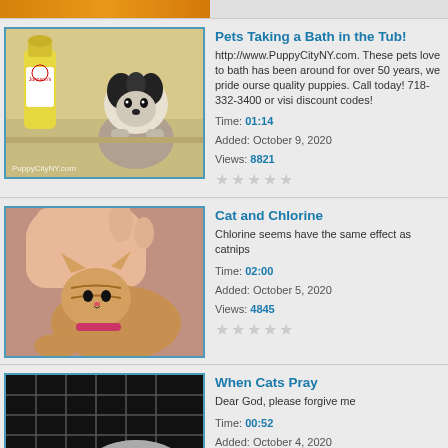[Figure (screenshot): Top strip showing partial video thumbnail in orange/brown color]
[Figure (photo): Thumbnail of a wet Shih Tzu dog in a bathtub next to Johnson's baby shampoo bottle]
Pets Taking a Bath in the Tub!
http://www.PuppyCityNY.com. These pets love to bath has been around for over 50 years, we pride ourselves quality puppies. Call today! 718-332-3400 or visit discount codes!
Time: 01:14
Added: October 9, 2020
Views: 8821
[Figure (photo): Thumbnail of a cat being petted by a human hand]
Cat and Chlorine
Chlorine seems have the same effect as catnips
Time: 02:00
Added: October 5, 2020
Views: 4845
[Figure (photo): Thumbnail of a cat in what appears to be a crate with teal/green background]
When Cats Pray
Dear God, please forgive me
Time: 00:52
Added: October 4, 2020
Views: 6309